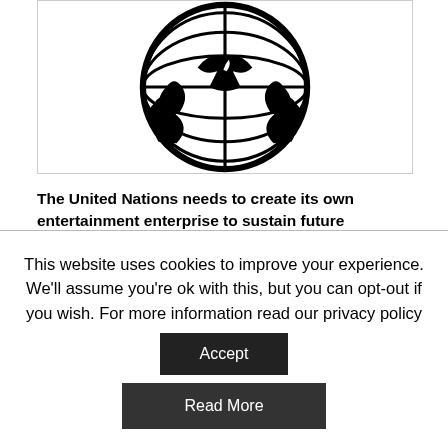[Figure (logo): United Nations logo — circular emblem with globe and olive branches, black and white, partially cropped at top]
The United Nations needs to create its own entertainment enterprise to sustain future operations.
The Digital Age has changed the way we produce and consume entertainment products. Everything has become faster, cheaper and more global. Digital technologies offer companies and individuals new cost-effective opportunities to develop, publish and distribute creative goods for a global audience. The rise of online companies like Amazon and Netflix is a clear sign for a
This website uses cookies to improve your experience. We'll assume you're ok with this, but you can opt-out if you wish. For more information read our privacy policy
Accept
Read More